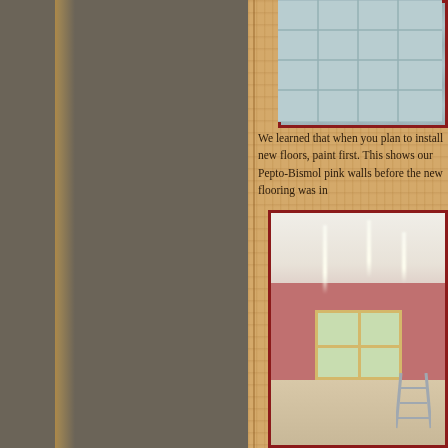[Figure (photo): Top photo showing light blue-gray tiled floor or ceiling with grid pattern, partially visible]
We learned that when you plan to install new floors, paint first. This shows our Pepto-Bismol pink walls before the new flooring was in
[Figure (photo): Interior room photo showing pink/mauve painted walls, pendant lights hanging from white ceiling, a window with yellow trim letting in natural light, concrete or bare floor, and a stepladder in the foreground. Room appears to be under renovation.]